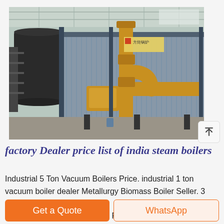[Figure (photo): Industrial steam boiler in a factory setting. A large corrugated metal boiler unit with yellow/orange pipes and fittings is shown. Dark cylindrical vessel on left with stairs, yellow gas pipes and connectors in center-front, industrial ceiling structure visible in background.]
factory Dealer price list of india steam boilers
Industrial 5 Ton Vacuum Boilers Price. industrial 1 ton vacuum boiler dealer Metallurgy Biomass Boiler Seller. 3 pass 5 ton steam boiler Small Coal Fired Boiler LFO or dual fuel
Get a Quote
WhatsApp